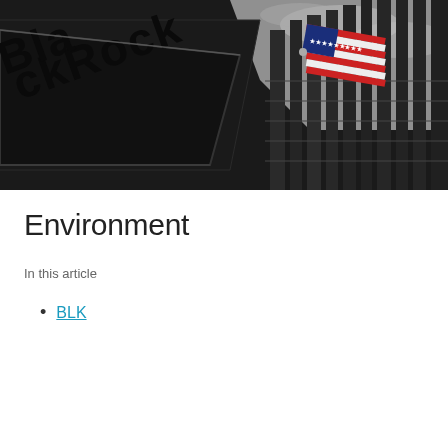[Figure (photo): Photograph of a tall dark building with a BlackRock sign visible on the facade, an American flag flying from a pole attached to the building, and a cloudy grey sky in the background.]
Environment
In this article
BLK